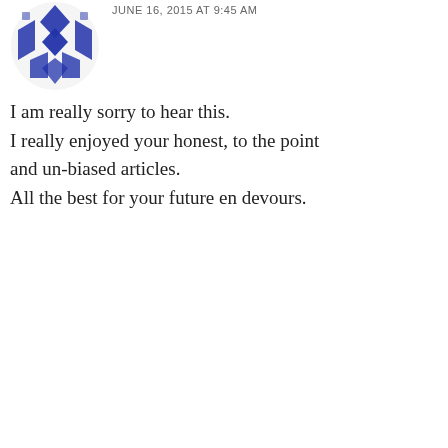[Figure (illustration): Blue geometric/diamond pattern avatar icon at top left]
JUNE 16, 2015 AT 9:45 AM
I am really sorry to hear this. I really enjoyed your honest, to the point and un-biased articles. All the best for your future en devours.
★ Like
REPLY
[Figure (illustration): Olive/green geometric pattern avatar icon]
Simha
JUNE 16, 2015 AT 9:55 AM
Sad to know this 😞
This blog was the only source for India